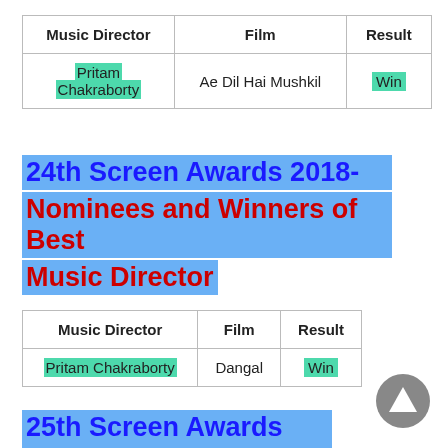| Music Director | Film | Result |
| --- | --- | --- |
| Pritam Chakraborty | Ae Dil Hai Mushkil | Win |
24th Screen Awards 2018- Nominees and Winners of Best Music Director
| Music Director | Film | Result |
| --- | --- | --- |
| Pritam Chakraborty | Dangal | Win |
25th Screen Awards 2019- Nominees and Winners of Best